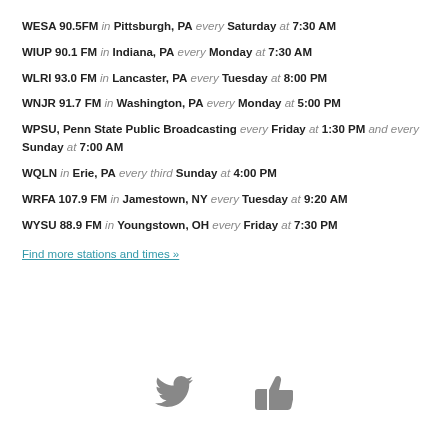WESA 90.5FM in Pittsburgh, PA every Saturday at 7:30 AM
WIUP 90.1 FM in Indiana, PA every Monday at 7:30 AM
WLRI 93.0 FM in Lancaster, PA every Tuesday at 8:00 PM
WNJR 91.7 FM in Washington, PA every Monday at 5:00 PM
WPSU, Penn State Public Broadcasting every Friday at 1:30 PM and every Sunday at 7:00 AM
WQLN in Erie, PA every third Sunday at 4:00 PM
WRFA 107.9 FM in Jamestown, NY every Tuesday at 9:20 AM
WYSU 88.9 FM in Youngstown, OH every Friday at 7:30 PM
Find more stations and times »
[Figure (illustration): Twitter bird icon and Facebook thumbs-up like icon in gray]